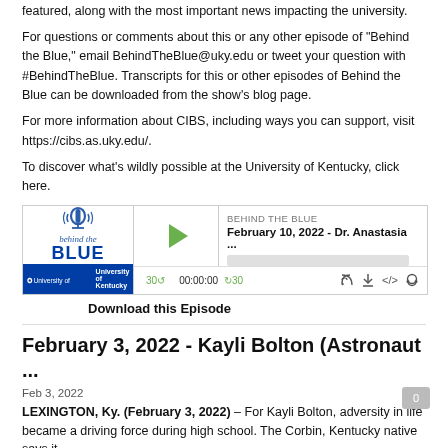featured, along with the most important news impacting the university.
For questions or comments about this or any other episode of "Behind the Blue," email BehindTheBlue@uky.edu or tweet your question with #BehindTheBlue. Transcripts for this or other episodes of Behind the Blue can be downloaded from the show's blog page.
For more information about CIBS, including ways you can support, visit https://cibs.as.uky.edu/.
To discover what's wildly possible at the University of Kentucky, click here.
[Figure (screenshot): Podcast player widget for 'Behind the Blue' episode dated February 10, 2022 - Dr. Anastasia ..., showing play button, progress bar, time 00:00:00, and controls.]
Download this Episode
February 3, 2022 - Kayli Bolton (Astronaut ...
Feb 3, 2022
LEXINGTON, Ky. (February 3, 2022) – For Kayli Bolton, adversity in life became a driving force during high school. The Corbin, Kentucky native says it